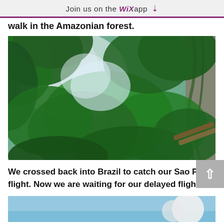Join us on the WiX app ↓
walk in the Amazonian forest.
[Figure (photo): Photo looking up through dense green Amazonian forest canopy with bright sky visible through leaves, wooden railing visible on right side]
We crossed back into Brazil to catch our Sao Paolo flight. Now we are waiting for our delayed flight.
[Figure (photo): Partial view of sky with clouds, bottom of page, mostly blue sky]